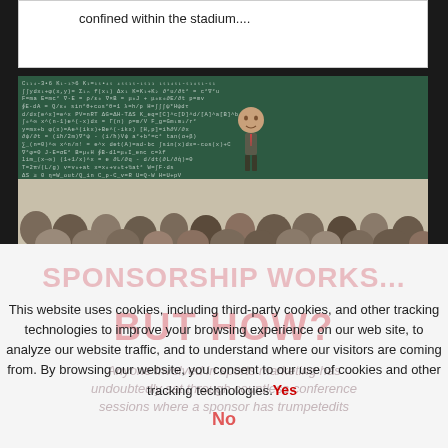confined within the stadium....
[Figure (photo): A classroom scene with a professor standing in front of a large chalkboard covered in equations and formulas, facing an audience of students seen from behind. The professor appears to have an oversized head (composite/meme image). The chalkboard is filled with handwritten mathematical notation.]
This website uses cookies, including third-party cookies, and other tracking technologies to improve your browsing experience on our web site, to analyze our website traffic, and to understand where our visitors are coming from. By browsing our website, you consent to our use of cookies and other tracking technologies. Yes
SPONSORSHIP WORKS...
BUT HOW?
Anyone involved in sports marketing has undoubtedly sat through countless conference sessions where a sponsor has trumpetedits
No